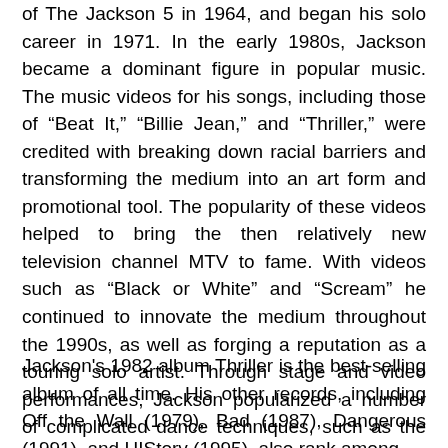of The Jackson 5 in 1964, and began his solo career in 1971. In the early 1980s, Jackson became a dominant figure in popular music. The music videos for his songs, including those of “Beat It,” “Billie Jean,” and “Thriller,” were credited with breaking down racial barriers and transforming the medium into an art form and promotional tool. The popularity of these videos helped to bring the then relatively new television channel MTV to fame. With videos such as “Black or White” and “Scream” he continued to innovate the medium throughout the 1990s, as well as forging a reputation as a touring solo artist. Through stage and video performances, Jackson popularized a number of complicated dance techniques, such as the robot, and the moonwalk, to which he gave the name. His distinctive sound and style has influenced numerous hip hop, post-disco, contemporary R&B, pop, and rock artists.
Jackson's 1982 album Thriller is the best-selling album of all time. His other records, including Off the Wall (1979), Bad (1987), Dangerous (1991), and HIStory (1995), also rank among